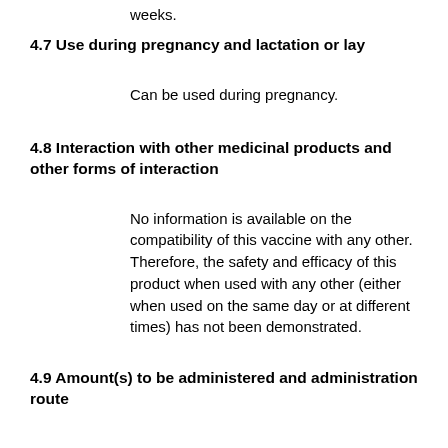weeks.
4.7 Use during pregnancy and lactation or lay
Can be used during pregnancy.
4.8 Interaction with other medicinal products and other forms of interaction
No information is available on the compatibility of this vaccine with any other. Therefore, the safety and efficacy of this product when used with any other (either when used on the same day or at different times) has not been demonstrated.
4.9 Amount(s) to be administered and administration route